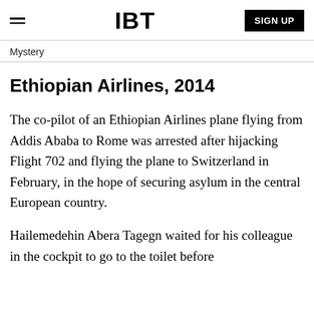IBT  SIGN UP
Mystery
Ethiopian Airlines, 2014
The co-pilot of an Ethiopian Airlines plane flying from Addis Ababa to Rome was arrested after hijacking Flight 702 and flying the plane to Switzerland in February, in the hope of securing asylum in the central European country.
Hailemedehin Abera Tagegn waited for his colleague in the cockpit to go to the toilet before